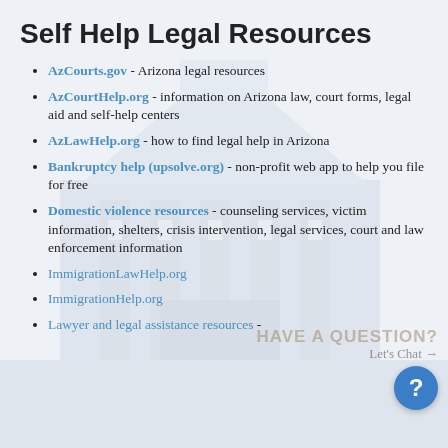Self Help Legal Resources
AzCourts.gov - Arizona legal resources
AzCourtHelp.org - information on Arizona law, court forms, legal aid and self-help centers
AzLawHelp.org - how to find legal help in Arizona
Bankruptcy help (upsolve.org) - non-profit web app to help you file for free
Domestic violence resources - counseling services, victim information, shelters, crisis intervention, legal services, court and law enforcement information
ImmigrationLawHelp.org
ImmigrationHelp.org
Lawyer and legal assistance resources -